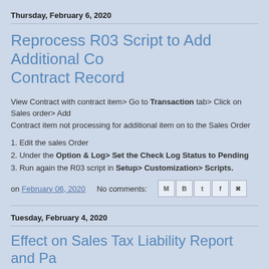Thursday, February 6, 2020
Reprocess R03 Script to Add Additional Co Contract Record
View Contract with contract item> Go to Transaction tab> Click on Sales order> Add Contract item not processing for additional item on to the Sales Order
1. Edit the sales Order
2. Under the Option & Log> Set the Check Log Status to Pending
3. Run again the R03 script in Setup> Customization> Scripts.
on February 06, 2020   No comments:
Tuesday, February 4, 2020
Effect on Sales Tax Liability Report and Pa if Credit memo for Sales Tax Refund is Issu
Given: Credit Memo for Sales Tax Refund was issued and this is to be reflect